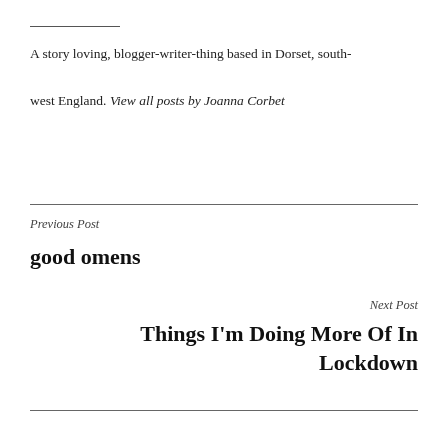A story loving, blogger-writer-thing based in Dorset, south-west England. View all posts by Joanna Corbet
Previous Post
good omens
Next Post
Things I'm Doing More Of In Lockdown